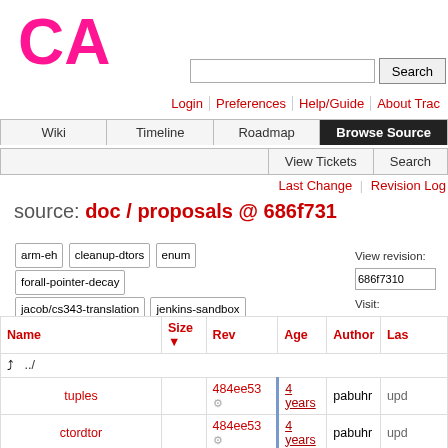[Figure (logo): CA logo in pink/magenta]
Search | Login | Preferences | Help/Guide | About Trac | Wiki | Timeline | Roadmap | Browse Source | View Tickets | Search
Last Change | Revision Log
source: doc / proposals @ 686f731
arm-eh cleanup-dtors enum forall-pointer-decay jacob/cs343-translation jenkins-sandbox new-ast new-ast-unique-expr pthread-emulation
View revision: 686f7310   View diff against:   Visit:
| Name | Size | Rev | Age | Author | Las |
| --- | --- | --- | --- | --- | --- |
| ../ |  |  |  |  |  |
| tuples |  | 484ee53 ⚙ | 4 years | pabuhr | upd |
| ctordtor |  | 484ee53 ⚙ | 4 years | pabuhr | upd |
| unicode.html | 146.0 KB | 686f731 ⚙ | 3 years | mlbrooks | unic |
| references.pdf | 70.3 KB | 5c6afcd ⚙ | 6 years | a3moss | Spli |
| zero_one.pdf | 69.3 KB | 5c6afcd ⚙ | 6 years | a3moss | Spli |
| ... | ... | ... | ... | ... | ... |